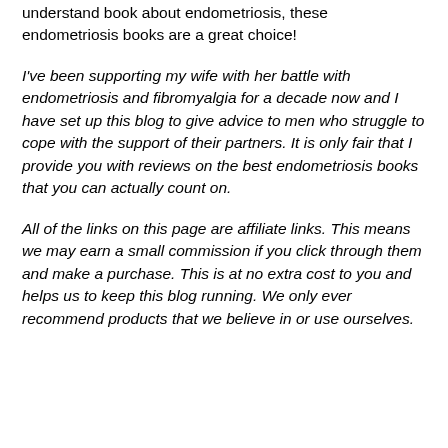understand book about endometriosis, these endometriosis books are a great choice!
I've been supporting my wife with her battle with endometriosis and fibromyalgia for a decade now and I have set up this blog to give advice to men who struggle to cope with the support of their partners. It is only fair that I provide you with reviews on the best endometriosis books that you can actually count on.
All of the links on this page are affiliate links. This means we may earn a small commission if you click through them and make a purchase. This is at no extra cost to you and helps us to keep this blog running. We only ever recommend products that we believe in or use ourselves.